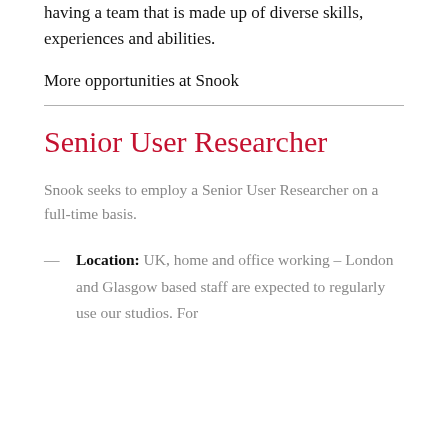communities and industries. We're committed to having a team that is made up of diverse skills, experiences and abilities.
More opportunities at Snook
Senior User Researcher
Snook seeks to employ a Senior User Researcher on a full-time basis.
Location: UK, home and office working – London and Glasgow based staff are expected to regularly use our studios. For